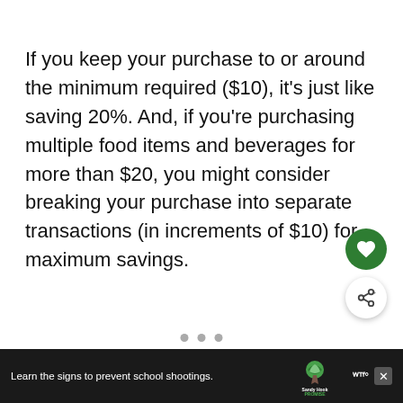If you keep your purchase to or around the minimum required ($10), it's just like saving 20%. And, if you're purchasing multiple food items and beverages for more than $20, you might consider breaking your purchase into separate transactions (in increments of $10) for maximum savings.
[Figure (other): Pagination dots (three small grey circles)]
[Figure (other): Floating action button with heart icon (green circle)]
[Figure (other): Floating share button with share icon (white circle with shadow)]
Learn the signs to prevent school shootings. Sandy Hook PROMISE